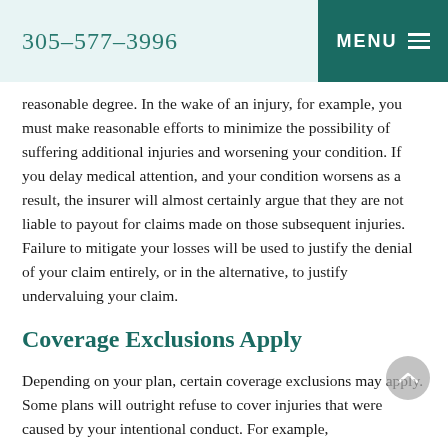305-577-3996  MENU
reasonable degree.  In the wake of an injury, for example, you must make reasonable efforts to minimize the possibility of suffering additional injuries and worsening your condition.  If you delay medical attention, and your condition worsens as a result, the insurer will almost certainly argue that they are not liable to payout for claims made on those subsequent injuries.  Failure to mitigate your losses will be used to justify the denial of your claim entirely, or in the alternative, to justify undervaluing your claim.
Coverage Exclusions Apply
Depending on your plan, certain coverage exclusions may apply.  Some plans will outright refuse to cover injuries that were caused by your intentional conduct.  For example,